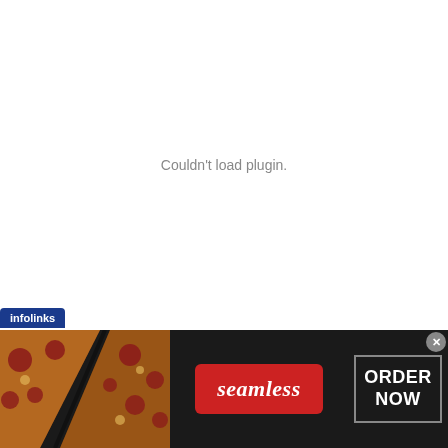Couldn't load plugin.
[Figure (other): Advertisement banner for Seamless food ordering service. Dark background with pizza photos on the left, a red Seamless logo badge in the center, and an 'ORDER NOW' button on the right. An infolinks badge appears at the top left corner.]